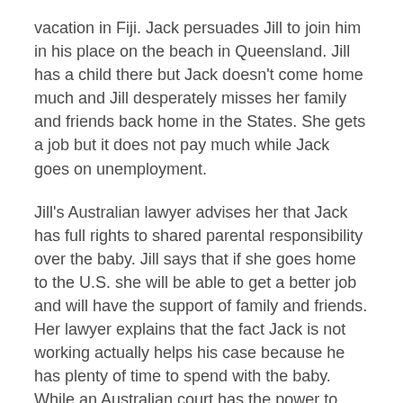vacation in Fiji. Jack persuades Jill to join him in his place on the beach in Queensland. Jill has a child there but Jack doesn't come home much and Jill desperately misses her family and friends back home in the States. She gets a job but it does not pay much while Jack goes on unemployment.
Jill's Australian lawyer advises her that Jack has full rights to shared parental responsibility over the baby. Jill says that if she goes home to the U.S. she will be able to get a better job and will have the support of family and friends. Her lawyer explains that the fact Jack is not working actually helps his case because he has plenty of time to spend with the baby. While an Australian court has the power to decide that it is in the best interests of the child that her mother be allowed to relocate with her to the U.S., the statutory presumption in favor of joint parental responsibility could well tip the balance in favor of blocking relocation except in extreme cases.